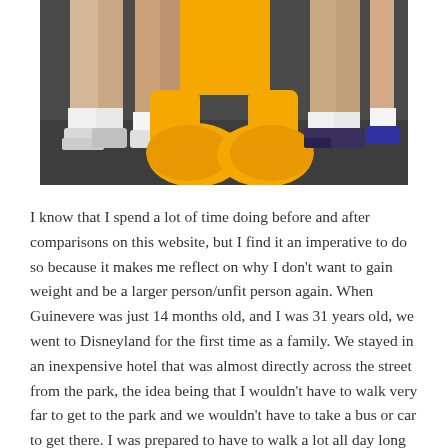[Figure (photo): Photo showing legs and feet of people standing together, including a character in large yellow costume shoes/boots (resembling Winnie the Pooh or similar Disney character), surrounded by human legs wearing white socks and sneakers]
I know that I spend a lot of time doing before and after comparisons on this website, but I find it an imperative to do so because it makes me reflect on why I don't want to gain weight and be a larger person/unfit person again. When Guinevere was just 14 months old, and I was 31 years old, we went to Disneyland for the first time as a family. We stayed in an inexpensive hotel that was almost directly across the street from the park, the idea being that I wouldn't have to walk very far to get to the park and we wouldn't have to take a bus or car to get there. I was prepared to have to walk a lot all day long to the park, but I was not prepared for the way that my body would react to that much walking! By the time we got back to our hotel every night I was absolutely exhausted. Didn't matter that the hotel is only across the